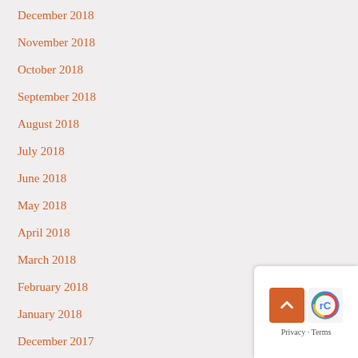December 2018
November 2018
October 2018
September 2018
August 2018
July 2018
June 2018
May 2018
April 2018
March 2018
February 2018
January 2018
December 2017
November 2017
October 2017
[Figure (other): Scroll-to-top button with reCAPTCHA privacy and terms footer widget in bottom-right corner]